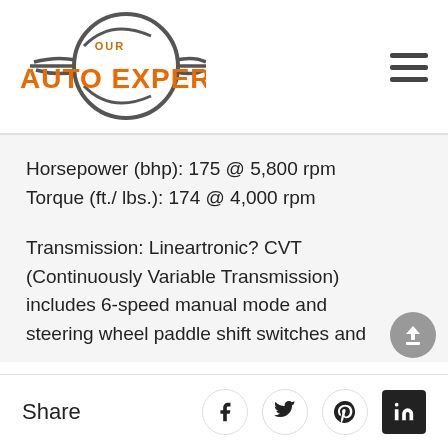[Figure (logo): Our Auto Expert logo with circular gear/wheel graphic and orange bold text AUTO EXPERT]
Horsepower (bhp): 175 @ 5,800 rpm
Torque (ft./ lbs.): 174 @ 4,000 rpm
Transmission: Lineartronic? CVT (Continuously Variable Transmission) includes 6-speed manual mode and steering wheel paddle shift switches and
Share